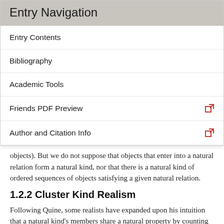Entry Navigation
Entry Contents
Bibliography
Academic Tools
Friends PDF Preview
Author and Citation Info
objects). But we do not suppose that objects that enter into a natural relation form a natural kind, nor that there is a natural kind of ordered sequences of objects satisfying a given natural relation.
1.2.2 Cluster Kind Realism
Following Quine, some realists have expanded upon his intuition that a natural kind's members share a natural property by counting families of such properties that are contingently clustered in nature (Boyd 1991, 1999a; Millikan 1999). These families of properties cluster together over time either because the presence of some